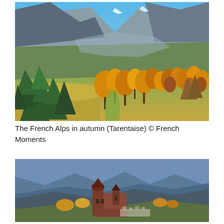[Figure (photo): Panoramic autumn landscape of the French Alps (Tarentaise): green and golden-orange trees on rolling hillside with dramatic mountain peaks and blue sky in background]
The French Alps in autumn (Tarentaise) © French Moments
[Figure (photo): Aerial view of a red-roofed castle/château with round tower situated on a hilltop above a valley with forested blue-hued mountains in the background]